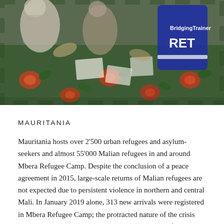[Figure (photo): Photo of people sitting on a colorful floral-patterned fabric/mat. A person wearing a blue vest with 'RET' text visible on the back is seen on the right side. Papers are scattered around.]
MAURITANIA
Mauritania hosts over 2'500 urban refugees and asylum-seekers and almost 55'000 Malian refugees in and around Mbera Refugee Camp. Despite the conclusion of a peace agreement in 2015, large-scale returns of Malian refugees are not expected due to persistent violence in northern and central Mali. In January 2019 alone, 313 new arrivals were registered in Mbera Refugee Camp; the protracted nature of the crisis has prompted United Nations High Commissioner for Refugees (UNHCR) to engage actors critical to the strengthening of the humanitarian-